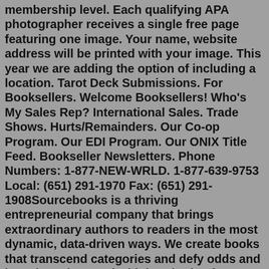membership level. Each qualifying APA photographer receives a single free page featuring one image. Your name, website address will be printed with your image. This year we are adding the option of including a location. Tarot Deck Submissions. For Booksellers. Welcome Booksellers! Who's My Sales Rep? International Sales. Trade Shows. Hurts/Remainders. Our Co-op Program. Our EDI Program. Our ONIX Title Feed. Bookseller Newsletters. Phone Numbers: 1-877-NEW-WRLD. 1-877-639-9753 Local: (651) 291-1970 Fax: (651) 291-1908Sourcebooks is a thriving entrepreneurial company that brings extraordinary authors to readers in the most dynamic, data-driven ways. We create books that transcend categories and defy odds and have been honored with hundreds of national bestsellers and awards. We are home to enthusiastic, book-loving employees who are dedicated to connecting ...Sep 20, 2021 · Photographers should use as many different channels as possible to showcase their talent to potential buyers. The APA Sourcebook